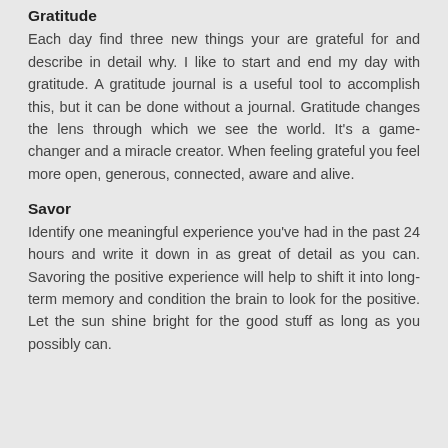Gratitude
Each day find three new things your are grateful for and describe in detail why. I like to start and end my day with gratitude. A gratitude journal is a useful tool to accomplish this, but it can be done without a journal. Gratitude changes the lens through which we see the world. It's a game-changer and a miracle creator. When feeling grateful you feel more open, generous, connected, aware and alive.
Savor
Identify one meaningful experience you've had in the past 24 hours and write it down in as great of detail as you can. Savoring the positive experience will help to shift it into long-term memory and condition the brain to look for the positive. Let the sun shine bright for the good stuff as long as you possibly can.